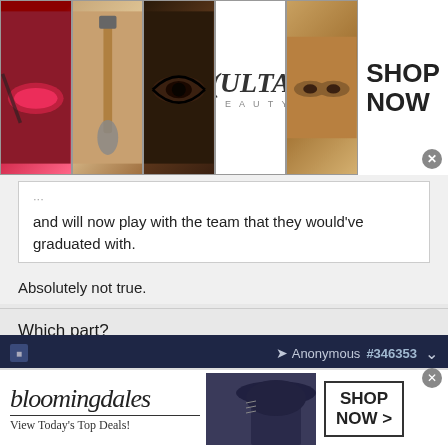[Figure (photo): Ulta Beauty advertisement banner with makeup photos (lips, brush, eye) and Ulta logo, SHOP NOW button]
and will now play with the team that they would've graduated with.
Absolutely not true.
Which part?
Anonymous #346353
Anonymous
Unregistered
[Figure (photo): Bloomingdale's advertisement banner: 'bloomingdales View Today's Top Deals!' with woman in hat, SHOP NOW > button]